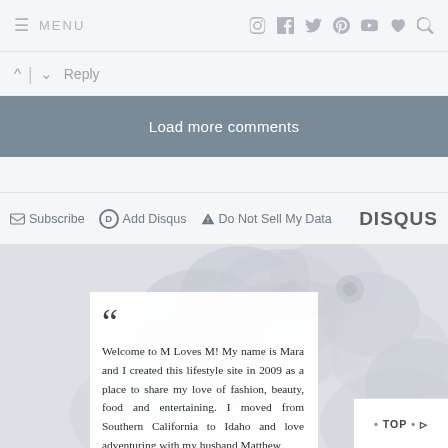≡ MENU   [Instagram] [Facebook] [Twitter] [Pinterest] [YouTube] [Heart] [Search]
^ | ∨   Reply
Load more comments
✉ Subscribe   D Add Disqus   ⚠ Do Not Sell My Data   DISQUS
[Figure (photo): Faded floral/flower background image in light grey-blue tones]
“Welcome to M Loves M! My name is Mara and I created this lifestyle site in 2009 as a place to share my love of fashion, beauty, food and entertaining. I moved from Southern California to Idaho and love adventuring with my husband Matthew...